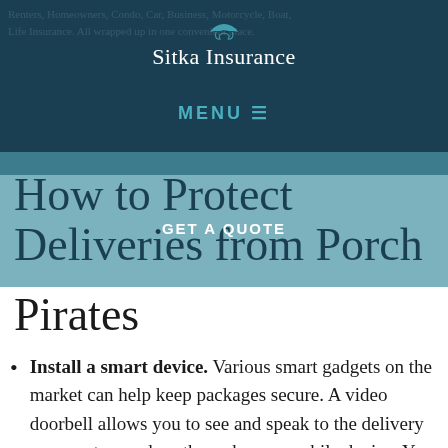Sitka Insurance
MENU
How to Protect Deliveries from Porch Pirates
GET A QUOTE
Install a smart device. Various smart gadgets on the market can help keep packages secure. A video doorbell allows you to see and speak to the delivery person at your door through your mobile device. You can ask them to leave the package in an inconspicuous spot or activate